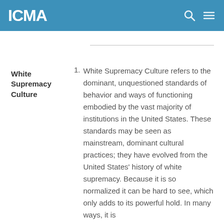ICMA
White Supremacy Culture
White Supremacy Culture refers to the dominant, unquestioned standards of behavior and ways of functioning embodied by the vast majority of institutions in the United States. These standards may be seen as mainstream, dominant cultural practices; they have evolved from the United States' history of white supremacy. Because it is so normalized it can be hard to see, which only adds to its powerful hold. In many ways, it is